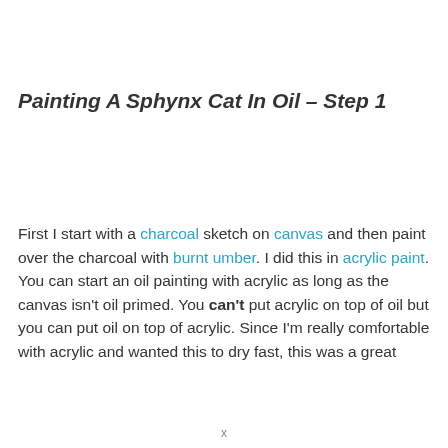Painting A Sphynx Cat In Oil – Step 1
First I start with a charcoal sketch on canvas and then paint over the charcoal with burnt umber. I did this in acrylic paint. You can start an oil painting with acrylic as long as the canvas isn't oil primed. You can't put acrylic on top of oil but you can put oil on top of acrylic. Since I'm really comfortable with acrylic and wanted this to dry fast, this was a great
x